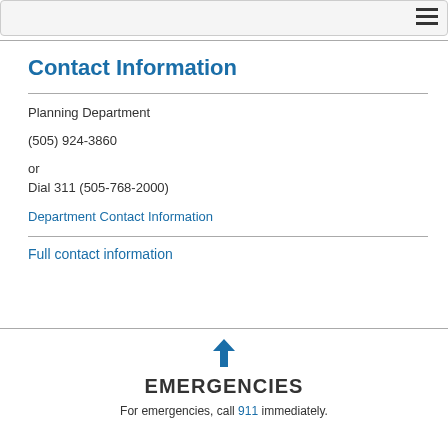Contact Information
Planning Department
(505) 924-3860
or
Dial 311 (505-768-2000)
Department Contact Information
Full contact information
EMERGENCIES
For emergencies, call 911 immediately.